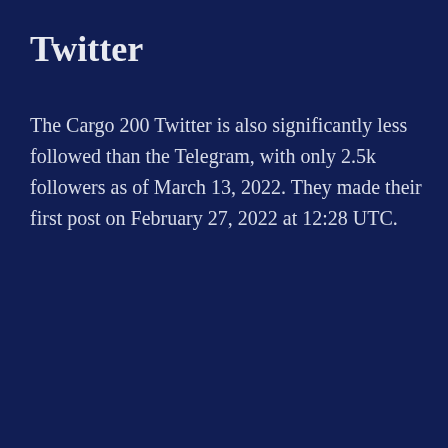Twitter
The Cargo 200 Twitter is also significantly less followed than the Telegram, with only 2.5k followers as of March 13, 2022. They made their first post on February 27, 2022 at 12:28 UTC.